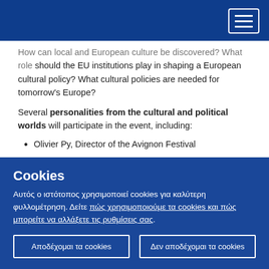[Navigation header with menu button]
How can local and European culture be discovered? What role should the EU institutions play in shaping a European cultural policy? What cultural policies are needed for tomorrow's Europe?
Several personalities from the cultural and political worlds will participate in the event, including:
Olivier Py, Director of the Avignon Festival
Nora Mébarek, MEP
Karine Gloanec Maurin, Regional Councillor, Centre val de Loire and Member of the European Committee of the Regions
Cookies
Αυτός ο ιστότοπος χρησιμοποιεί cookies για καλύτερη φυλλομέτρηση. Δείτε πώς χρησιμοποιούμε τα cookies και πώς μπορείτε να αλλάξετε τις ρυθμίσεις σας.
Αποδέχομαι τα cookies | Δεν αποδέχομαι τα cookies